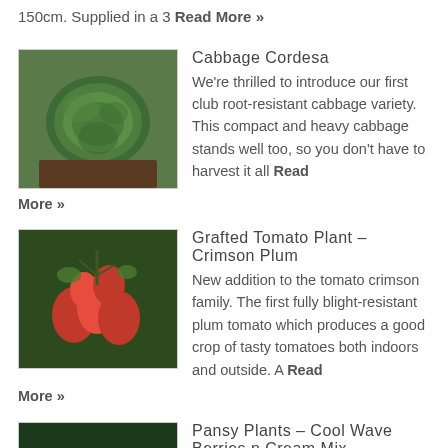150cm. Supplied in a 3 Read More »
[Figure (photo): Green cabbage head on wooden surface]
Cabbage Cordesa
We're thrilled to introduce our first club root-resistant cabbage variety. This compact and heavy cabbage stands well too, so you don't have to harvest it all Read More »
[Figure (photo): Red plum tomatoes on vine]
Grafted Tomato Plant – Crimson Plum
New addition to the tomato crimson family. The first fully blight-resistant plum tomato which produces a good crop of tasty tomatoes both indoors and outside. A Read More »
[Figure (photo): White pansy flowers with green foliage]
Pansy Plants – Cool Wave Berries n Cream Mix
A magnificent colour mix of trailing pansies, the Cool Wave series produces some of the finest winter trailing pansies.  These superb pansies grow fast and can Read More »
[Figure (photo): Rhubarb crown plant]
Rhubarb Crowns – Timperley Early